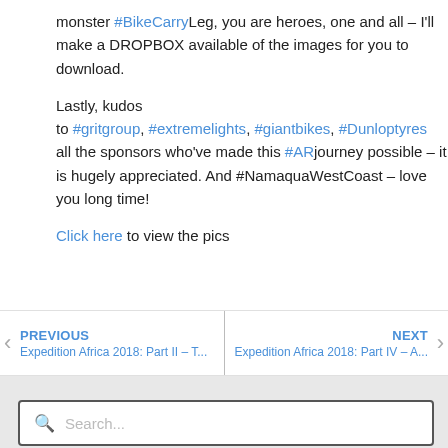monster #BikeCarryLeg, you are heroes, one and all – I'll make a DROPBOX available of the images for you to download.

Lastly, kudos to #gritgroup, #extremelights, #giantbikes, #Dunloptyres all the sponsors who've made this #ARjourney possible – it is hugely appreciated. And #NamaquaWestCoast – love you long time!

Click here to view the pics
PREVIOUS
Expedition Africa 2018: Part II – T...
NEXT
Expedition Africa 2018: Part IV – A...
Search...